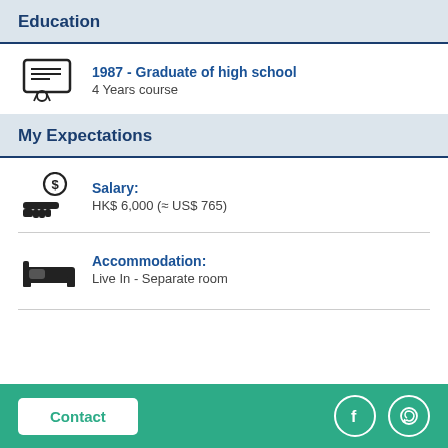Education
1987 - Graduate of high school
4 Years course
My Expectations
Salary:
HK$ 6,000 (≈ US$ 765)
Accommodation:
Live In - Separate room
Contact